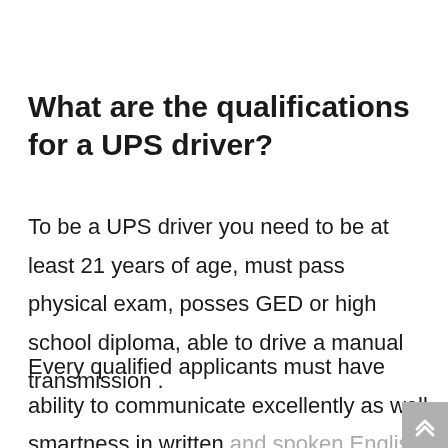What are the qualifications for a UPS driver?
To be a UPS driver you need to be at least 21 years of age, must pass physical exam, posses GED or high school diploma, able to drive a manual transmission .
Every qualified applicants must have ability to communicate excellently as well smartness in written and spoken English language, great driving skills and mental awareness especially in difficult route.